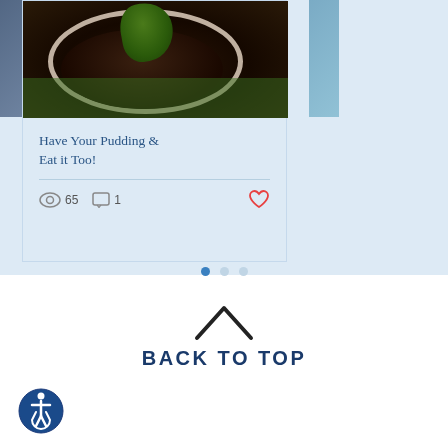[Figure (screenshot): A blog post card showing a chocolate pudding dessert with green garnish. Card includes title 'Have Your Pudding & Eat it Too!', view count of 65, comment count of 1, and a heart/like icon. Below the card are three navigation dots, with the first dot active (blue).]
Have Your Pudding & Eat it Too!
65  1
[Figure (infographic): Back to top button with upward chevron arrow and text 'BACK TO TOP' in dark blue bold uppercase letters. An accessibility icon (wheelchair symbol in a blue circle) is shown in the bottom left.]